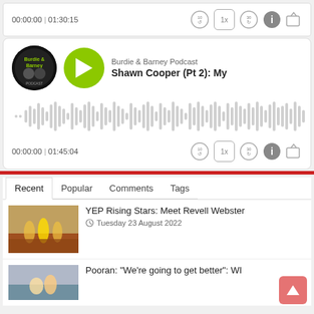[Figure (screenshot): Podcast player widget showing time 00:00:00 | 01:30:15 with playback controls (rewind 10s, 1x speed, forward 30s), info and share icons]
[Figure (screenshot): Podcast player for Burdie & Barney Podcast, episode Shawn Cooper (Pt 2): My, showing green play button, circular logo, audio waveform, time 00:00:00 | 01:45:04, and playback controls]
Recent | Popular | Comments | Tags
YEP Rising Stars: Meet Revell Webster
Tuesday 23 August 2022
Pooran: "We're going to get better": WI